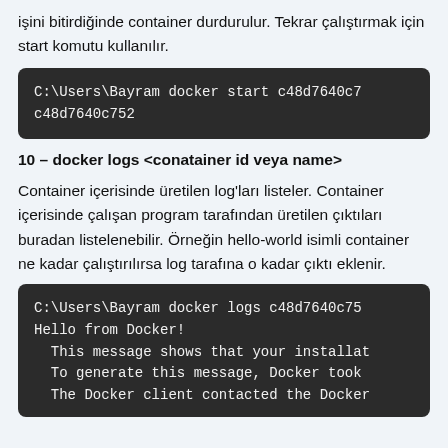işini bitirdiğinde container durdurulur. Tekrar çalıştırmak için start komutu kullanılır.
[Figure (screenshot): Dark terminal code block showing: C:\Users\Bayram docker start c48d7640c7
c48d7640c752]
10 – docker logs <conatainer id veya name>
Container içerisinde üretilen log'ları listeler. Container içerisinde çalışan program tarafından üretilen çıktıları buradan listelenebilir. Örneğin hello-world isimli container ne kadar çalıştırılırsa log tarafına o kadar çıktı eklenir.
[Figure (screenshot): Dark terminal code block showing: C:\Users\Bayram docker logs c48d7640c75
Hello from Docker!
  This message shows that your installat
  To generate this message, Docker took
  The Docker client contacted the Docker]